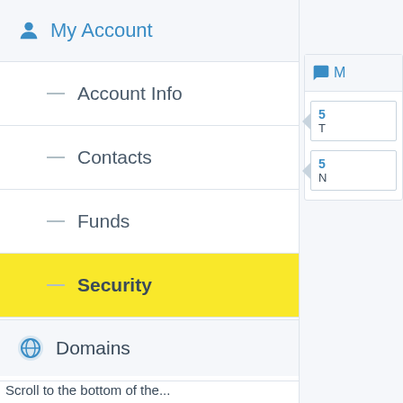My Account
Account Info
Contacts
Funds
Security
Default Name Servers
Login History
Domains
Scroll to the bottom of the...